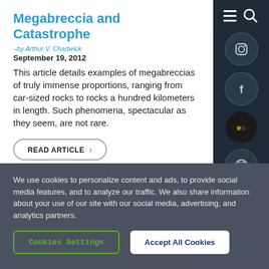Megabreccia and Catastrophe
–by Arthur V. Chadwick
September 19, 2012
This article details examples of megabreccias of truly immense proportions, ranging from car-sized rocks to rocks a hundred kilometers in length. Such phenomena, spectacular as they seem, are not rare.
READ ARTICLE >
We use cookies to personalize content and ads, to provide social media features, and to analyze our traffic. We also share information about your use of our site with our social media, advertising, and analytics partners.
Cookies Settings
Accept All Cookies